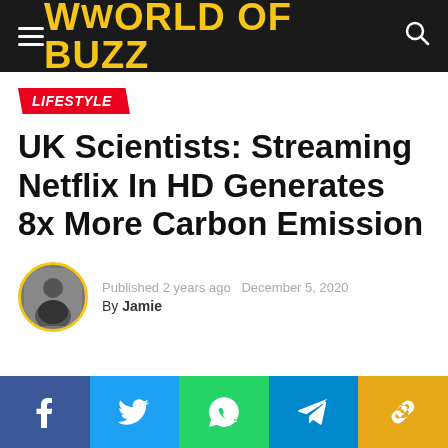WORLD OF BUZZ
LIFESTYLE
UK Scientists: Streaming Netflix In HD Generates 8x More Carbon Emission
Published 2 years ago  December 5, 2020
By Jamie